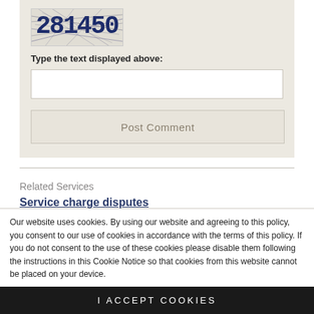[Figure (other): CAPTCHA image showing distorted text '281450' with diagonal interference lines over a light gray background]
Type the text displayed above:
[Figure (other): Empty text input field for CAPTCHA entry]
[Figure (other): Post Comment button]
Related Services
Service charge disputes
Our website uses cookies. By using our website and agreeing to this policy, you consent to our use of cookies in accordance with the terms of this policy. If you do not consent to the use of these cookies please disable them following the instructions in this Cookie Notice so that cookies from this website cannot be placed on your device.
I ACCEPT COOKIES